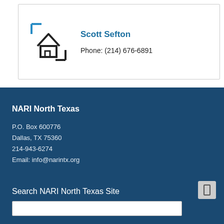[Figure (logo): House icon logo with bracket frame in black and blue lines]
Scott Sefton
Phone: (214) 676-6891
NARI North Texas
P.O. Box 600776
Dallas, TX 75360
214-943-6274
Email: info@narintx.org
Search NARI North Texas Site